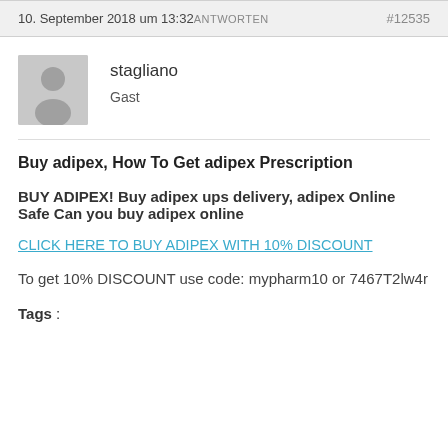10. September 2018 um 13:32 ANTWORTEN #12535
[Figure (illustration): Grey avatar placeholder icon showing a silhouette of a person]
stagliano
Gast
Buy adipex, How To Get adipex Prescription
BUY ADIPEX! Buy adipex ups delivery, adipex Online Safe Can you buy adipex online
CLICK HERE TO BUY ADIPEX WITH 10% DISCOUNT
To get 10% DISCOUNT use code: mypharm10 or 7467T2lw4r
Tags :